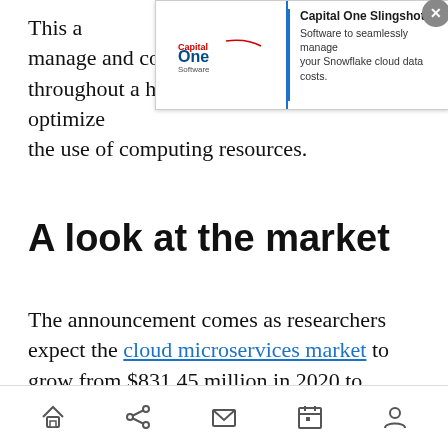This a… manage and control resources deployed throughout a hybrid environment and optimize the use of computing resources.
[Figure (screenshot): Capital One Software advertisement banner for Capital One Slingshot — Software to seamlessly manage your Snowflake cloud data costs. Has a close (X) button.]
A look at the market
The announcement comes as researchers expect the cloud microservices market to grow from $831.45 million in 2020 to $2,701.36 million by 2026 as more organizations embrace cloud services post COVID-19.
[Figure (screenshot): Mobile browser bottom navigation bar with home, share, mail, calendar, and account icons.]